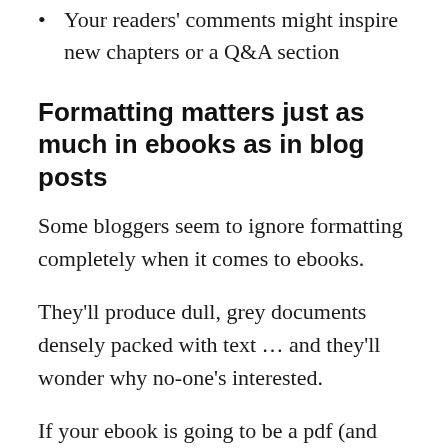Your readers' comments might inspire new chapters or a Q&A section
Formatting matters just as much in ebooks as in blog posts
Some bloggers seem to ignore formatting completely when it comes to ebooks.
They'll produce dull, grey documents densely packed with text … and they'll wonder why no-one's interested.
If your ebook is going to be a pdf (and most info-products are), then you can use all the